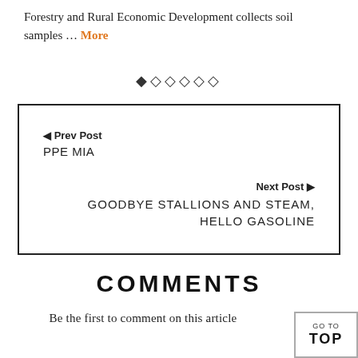Forestry and Rural Economic Development collects soil samples … More
[Figure (other): Decorative diamond/pagination icons: one filled diamond followed by five outlined diamonds]
◄ Prev Post
PPE MIA
Next Post ►
GOODBYE STALLIONS AND STEAM, HELLO GASOLINE
COMMENTS
Be the first to comment on this article
GO TO TOP